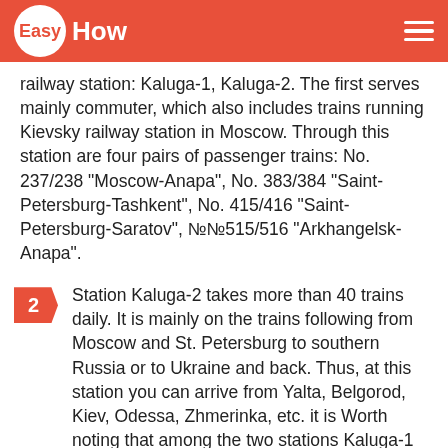EasyHow
railway station: Kaluga-1, Kaluga-2. The first serves mainly commuter, which also includes trains running Kievsky railway station in Moscow. Through this station are four pairs of passenger trains: No. 237/238 "Moscow-Anapa", No. 383/384 "Saint-Petersburg-Tashkent", No. 415/416 "Saint-Petersburg-Saratov", №№515/516 "Arkhangelsk-Anapa".
2 Station Kaluga-2 takes more than 40 trains daily. It is mainly on the trains following from Moscow and St. Petersburg to southern Russia or to Ukraine and back. Thus, at this station you can arrive from Yalta, Belgorod, Kiev, Odessa, Zhmerinka, etc. it is Worth noting that among the two stations Kaluga-1 has a higher priority and is the main rail gateway to the city.